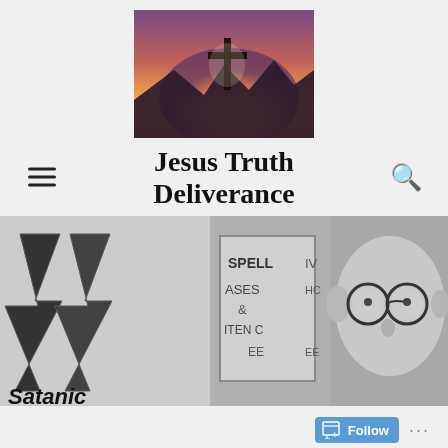[Figure (photo): Cross silhouetted against a sunset sky with mountains in background, warm orange and purple tones]
Jesus Truth Deliverance
[Figure (photo): Black and white image collage: left side shows stylized lightning bolt SS-style logo with text 'Satanic' below it; center shows partial text on a sign reading SPELL, ASES, ITEN, middle section; right side shows a cartoon or illustrated character with round glasses]
Follow ...